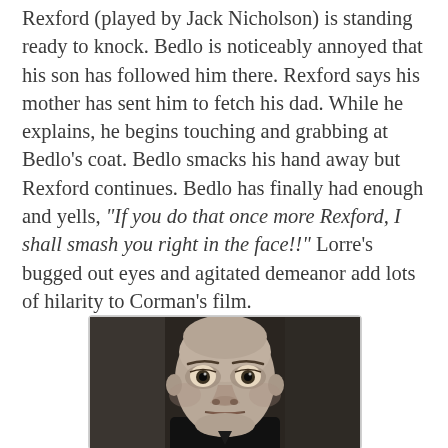Rexford (played by Jack Nicholson) is standing ready to knock. Bedlo is noticeably annoyed that his son has followed him there. Rexford says his mother has sent him to fetch his dad. While he explains, he begins touching and grabbing at Bedlo's coat. Bedlo smacks his hand away but Rexford continues. Bedlo has finally had enough and yells, "If you do that once more Rexford, I shall smash you right in the face!!" Lorre's bugged out eyes and agitated demeanor add lots of hilarity to Corman's film.
[Figure (photo): A close-up photograph of an actor (Peter Lorre) with a bald head, prominent eyes, and an intense expression, wearing dark clothing, set against a dark background.]